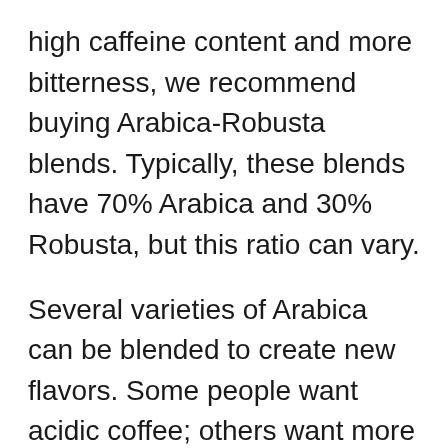high caffeine content and more bitterness, we recommend buying Arabica-Robusta blends. Typically, these blends have 70% Arabica and 30% Robusta, but this ratio can vary.
Several varieties of Arabica can be blended to create new flavors. Some people want acidic coffee; others want more bitter coffee. Combining several varieties of Arabica allows roasters to create unique aromas and tastes in each blend.